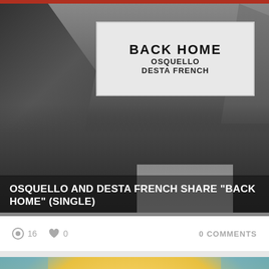[Figure (photo): Black and white outdoor concert or event photo showing a banner reading 'BACK HOME OSQUELLO DESTA FRENCH', with palm trees, crowd, and stacked boxes in the background]
OSQUELLO AND DESTA FRENCH SHARE “BACK HOME” (SINGLE)
16  0  0 COMMENTS
[Figure (illustration): Colorful symmetrical psychedelic kaleidoscopic illustration with orange, yellow, blue and teal abstract shapes on a warm golden background]